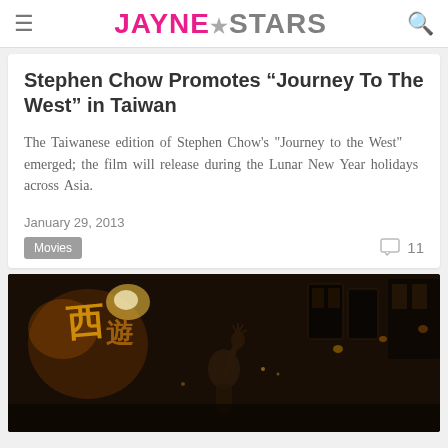JAYNE★STARS
Stephen Chow Promotes "Journey To The West" in Taiwan
The Taiwanese edition of Stephen Chow's "Journey to the West" emerged; the film will release during the Lunar New Year holidays across Asia.
January 29, 2013
Movies  11
[Figure (photo): Dark movie still from Journey to the West showing a person with raised hands in a dimly lit traditional setting, with Chinese characters visible in upper left]